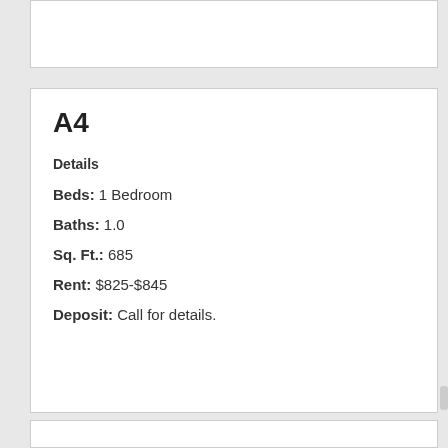A4
Details
Beds: 1 Bedroom
Baths: 1.0
Sq. Ft.: 685
Rent: $825-$845
Deposit: Call for details.